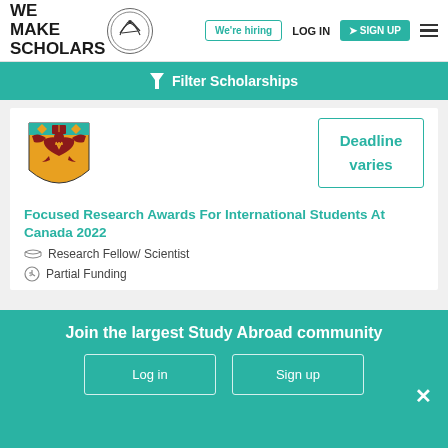[Figure (logo): We Make Scholars logo with circular emblem and figure jumping]
We're hiring
LOG IN
SIGN UP
Filter Scholarships
[Figure (logo): University crest/shield logo - gold and maroon heraldic eagle design]
Deadline varies
Focused Research Awards For International Students At Canada 2022
Research Fellow/ Scientist
Partial Funding
Join the largest Study Abroad community
Log in
Sign up